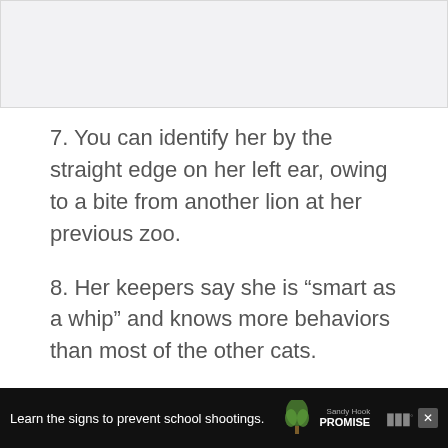[Figure (other): Gray placeholder image area at top of page]
7. You can identify her by the straight edge on her left ear, owing to a bite from another lion at her previous zoo.
8. Her keepers say she is “smart as a whip” and knows more behaviors than most of the other cats.
Sponsor Patty For
[Figure (other): Advertisement bar at bottom: Sandy Hook Promise ad with text 'Learn the signs to prevent school shootings.' with logo and Nielsen logo]